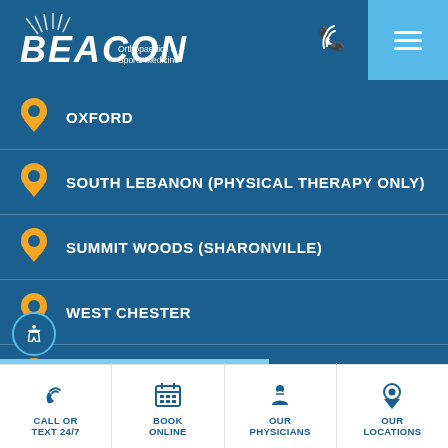BEACON Orthopaedics & Sports Medicine
OXFORD
SOUTH LEBANON (PHYSICAL THERAPY ONLY)
SUMMIT WOODS (SHARONVILLE)
WEST CHESTER
WESTERN HILLS (BEACON WEST)
WILMINGTON
CALL OR TEXT 24/7 | BOOK ONLINE | OUR PHYSICIANS | OUR LOCATIONS